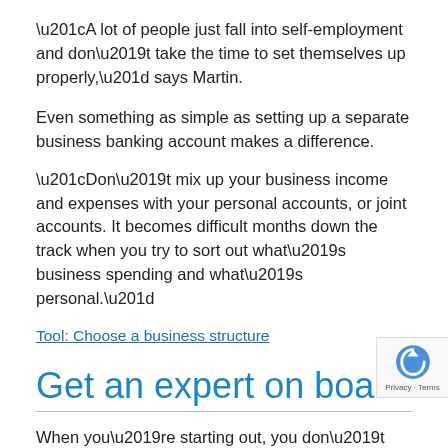“A lot of people just fall into self-employment and don’t take the time to set themselves up properly,” says Martin.
Even something as simple as setting up a separate business banking account makes a difference.
“Don’t mix up your business income and expenses with your personal accounts, or joint accounts. It becomes difficult months down the track when you try to sort out what’s business spending and what’s personal.”
Tool: Choose a business structure
Get an expert on board
When you’re starting out, you don’t know what you know. So it may be tricky to work out how to set yo up properly. Consider getting expert help from an